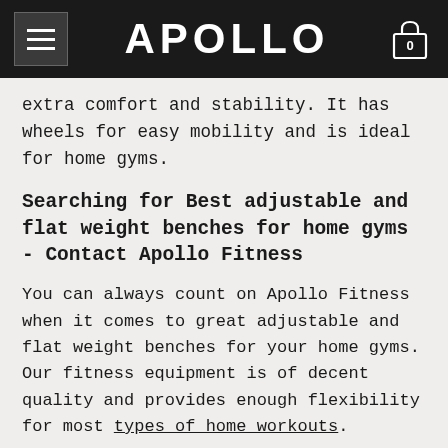APOLLO
extra comfort and stability. It has wheels for easy mobility and is ideal for home gyms.
Searching for Best adjustable and flat weight benches for home gyms - Contact Apollo Fitness
You can always count on Apollo Fitness when it comes to great adjustable and flat weight benches for your home gyms. Our fitness equipment is of decent quality and provides enough flexibility for most types of home workouts.
Since the human legs are not too tall, tall people might find it uncomfortable